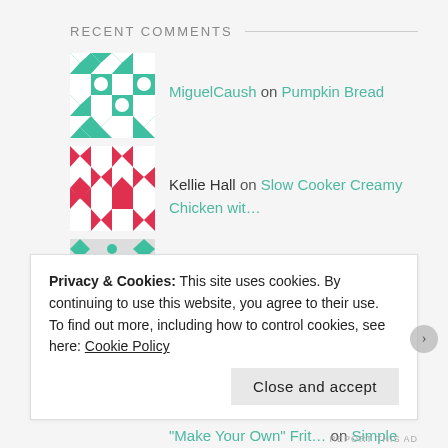RECENT COMMENTS
MiguelCaush on Pumpkin Bread
Kellie Hall on Slow Cooker Creamy Chicken wit...
Mischa on Cheesy Eggy Breakfast Toast
Keep you Healthy Bre... on Keep you Healthy, Make-ahead,...
"Make Your Own" Frit... on Simple Caramelized Onion and M...
Privacy & Cookies: This site uses cookies. By continuing to use this website, you agree to their use.
To find out more, including how to control cookies, see here: Cookie Policy
Close and accept